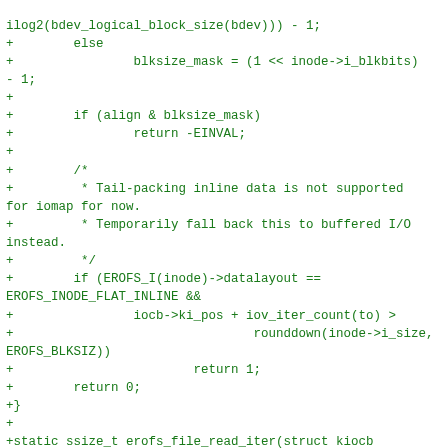ilog2(bdev_logical_block_size(bdev))) - 1;
+        else
+                blksize_mask = (1 << inode->i_blkbits) - 1;
+
+        if (align & blksize_mask)
+                return -EINVAL;
+
+        /*
+         * Tail-packing inline data is not supported for iomap for now.
+         * Temporarily fall back this to buffered I/O instead.
+         */
+        if (EROFS_I(inode)->datalayout == EROFS_INODE_FLAT_INLINE &&
+                iocb->ki_pos + iov_iter_count(to) >
+                                rounddown(inode->i_size, EROFS_BLKSIZ))
+                        return 1;
+        return 0;
+}
+
+static ssize_t erofs_file_read_iter(struct kiocb *iocb, struct iov_iter *to)
+{
+        /* no need taking (shared) inode lock since it's a ro filesystem */
+        if (!iov_iter_count(to))
+                return 0;